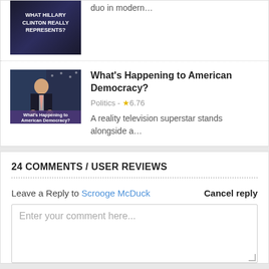duo in modern…
What's Happening to American Democracy?
Politics - ★ 6.76
A reality television superstar stands alongside a…
24 COMMENTS / USER REVIEWS
Leave a Reply to Scrooge McDuck   Cancel reply
Enter your comment here...